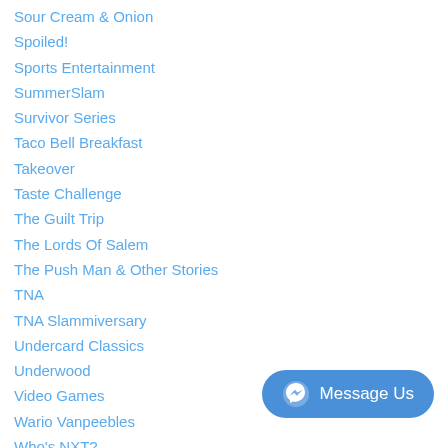Sour Cream & Onion
Spoiled!
Sports Entertainment
SummerSlam
Survivor Series
Taco Bell Breakfast
Takeover
Taste Challenge
The Guilt Trip
The Lords Of Salem
The Push Man & Other Stories
TNA
TNA Slammiversary
Undercard Classics
Underwood
Video Games
Wario Vanpeebles
Who's NXT?
WM
WrestleMania
WrestleMania XXX
[Figure (other): Facebook Messenger 'Message Us' button in blue rounded rectangle with messenger icon]